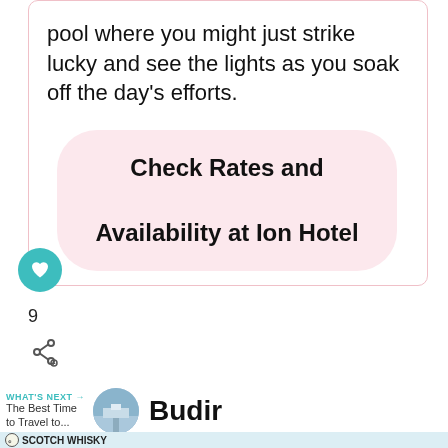pool where you might just strike lucky and see the lights as you soak off the day's efforts.
Check Rates and Availability at Ion Hotel
9
WHAT'S NEXT → The Best Time to Travel to...
Budir
[Figure (photo): Advertisement banner showing Scotch Whisky bottle]
[Figure (photo): Travel destination thumbnail photo showing a road/landscape for 'The Best Time to Travel to...' article]